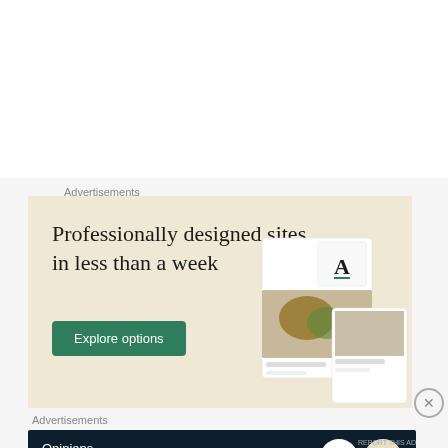Don't tell them I told you this, but I used to make my son earn PlayStation time by reading. Worked like a charm 😉
★ Like
Advertisements
[Figure (screenshot): Advertisement banner: 'Professionally designed sites in less than a week' with 'Explore options' green button and website mockup images, on a beige background.]
Advertisements
[Figure (screenshot): Dark banner ad: 'Opinions. We all have them!' with WordPress and another logo on right side.]